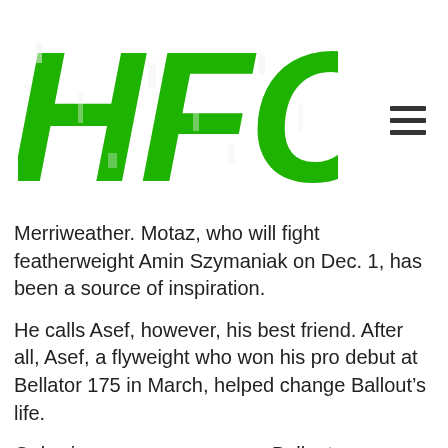[Figure (logo): HFC logo in bold green italic distressed font]
Merriweather. Motaz, who will fight featherweight Amin Szymaniak on Dec. 1, has been a source of inspiration.
He calls Asef, however, his best friend. After all, Asef, a flyweight who won his pro debut at Bellator 175 in March, helped change Ballout’s life.
Only six or seven years ago, Ballout was struggling to find his place in the arena of athletics. It certainly wasn’t on the wrestling mat, considering he couldn’t make his high